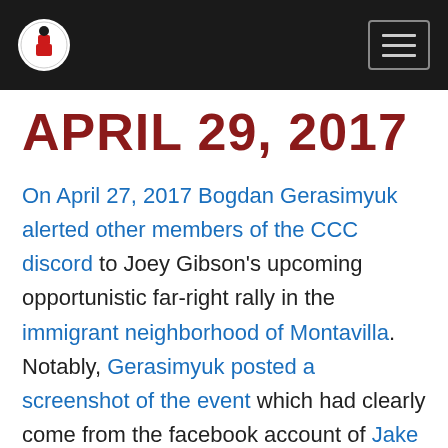[Navigation header with logo and hamburger menu]
APRIL 29, 2017
On April 27, 2017 Bogdan Gerasimyuk alerted other members of the CCC discord to Joey Gibson's upcoming opportunistic far-right rally in the immigrant neighborhood of Montavilla. Notably, Gerasimyuk posted a screenshot of the event which had clearly come from the facebook account of Jake Von Ott, suggesting that the two of them had already been in contact for some time before the event...